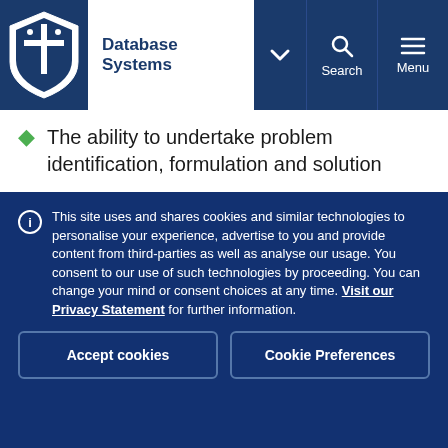Database Systems
The ability to undertake problem identification, formulation and solution
This site uses and shares cookies and similar technologies to personalise your experience, advertise to you and provide content from third-parties as well as analyse our usage. You consent to our use of such technologies by proceeding. You can change your mind or consent choices at any time. Visit our Privacy Statement for further information.
Accept cookies
Cookie Preferences